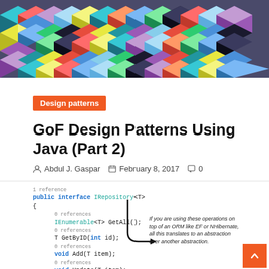[Figure (illustration): Colorful geometric isometric cube pattern banner in multiple colors including red, blue, green, yellow, purple, teal, and black arranged in a repeating diamond/hexagonal grid pattern.]
Design patterns
GoF Design Patterns Using Java (Part 2)
Abdul J. Gaspar   February 8, 2017   0
[Figure (screenshot): Code screenshot showing a C# public interface IRepository<T> with methods: IEnumerable<T> GetAll(); T GetByID(int id); void Add(T item); void Update(T item); void Delete(T item); with a callout note reading 'If you are using these operations on top of an ORM like EF or NHibernate, all this translates to an abstraction over another abstraction.']